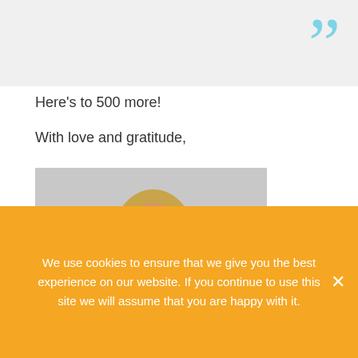[Figure (illustration): Light blue closing quotation marks on a light grey background banner at top of page]
Here's to 500 more!
With love and gratitude,
[Figure (photo): Woman with long blonde hair smiling, wearing a black and red tank top that reads THE HOT ROOM INDIANAPOLIS, posed with hands on hips against a light grey background]
Katie Gigante
We use cookies to ensure that we give you the best experience on our website. If you continue to use this site we will assume that you are happy with it.